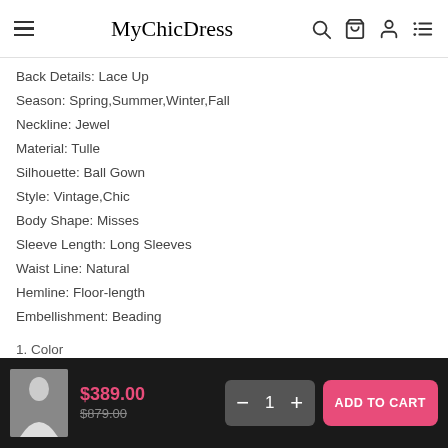MyChicDress
Back Details: Lace Up
Season: Spring,Summer,Winter,Fall
Neckline: Jewel
Material: Tulle
Silhouette: Ball Gown
Style: Vintage,Chic
Body Shape: Misses
Sleeve Length: Long Sleeves
Waist Line: Natural
Hemline: Floor-length
Embellishment: Beading
1. Color
Besides the color as picture, we can make any color you want. Please refer to the Color Chart for more colors, and leave us a note at checkout.
$389.00  $879.00  1  ADD TO CART